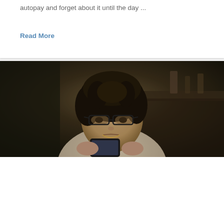autopay and forget about it until the day ...
Read More
[Figure (photo): A woman with glasses and curly hair looking at a smartphone with a concerned expression, sitting in a dimly lit room]
Don't recognize it? Don't click it! How to spot (and avoid) phishing links.
It seems as fast as technology evolves, so do the ways you may be at risk for fraud. Caller ID and b...